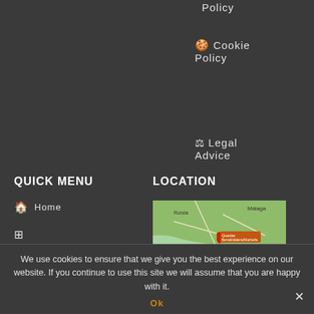Policy
🍪 Cookie Policy
⚖ Legal Advice
QUICK MENU
LOCATION
🏠 Home
⊞
[Figure (map): Google map screenshot showing Málaga coast area with a red location pin marker near 'Quartier Benalmádena/Marbella']
We use cookies to ensure that we give you the best experience on our website. If you continue to use this site we will assume that you are happy with it.
Ok